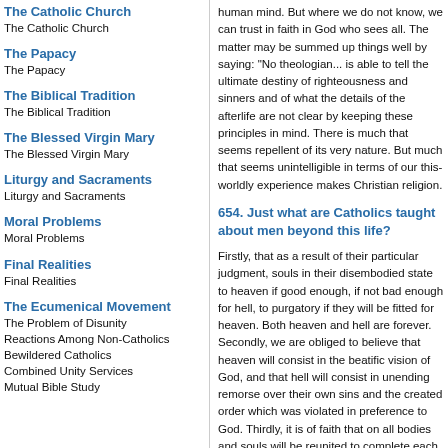The Catholic Church
The Catholic Church
The Papacy
The Papacy
The Biblical Tradition
The Biblical Tradition
The Blessed Virgin Mary
The Blessed Virgin Mary
Liturgy and Sacraments
Liturgy and Sacraments
Moral Problems
Moral Problems
Final Realities
Final Realities
The Ecumenical Movement
The Problem of Disunity
Reactions Among Non-Catholics
Bewildered Catholics
Combined Unity Services
Mutual Bible Study
human mind. But where we do not know, we can trust in faith in God who sees all. The matter may be summed up things well by saying: "No theologian... is able to tell the ultimate destiny of righteousness and sinners and of what the details of the afterlife are not clear by keeping these principles in mind. There is much that seems repellent of its very nature. But much that seems unintelligible in terms of our this-worldly experience makes Christian religion.
654. Just what are Catholics taught about men beyond this life?
Firstly, that as a result of their particular judgment, souls in their disembodied state to heaven if good enough, if not bad enough for hell, to purgatory if they will be fitted for heaven. Both heaven and hell are forever. Secondly, we are obliged to believe that heaven will consist in the beatific vision of God, and that hell will consist in unending remorse over their own sins and the created order which was violated in preference to God. Thirdly, it is of faith that on the last day all bodies and souls will be reunited to complete each person's eternal fate, the complete man being person's eternal fate, the complete man being saved or lost, as the case may be. As regards the biblical imagery and of various speculations open to theologians, their conclusions vary, of course, according to the worth of their